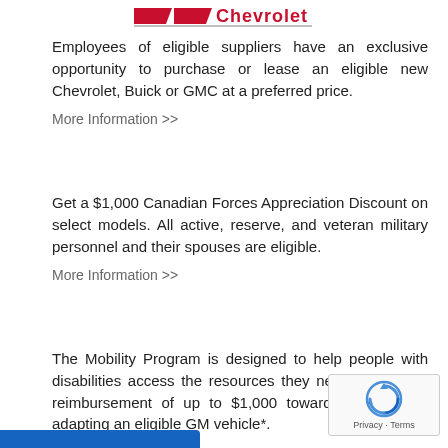[Figure (logo): Partial Chevrolet logo at top center, red and silver stylized bowtie/text logo]
Employees of eligible suppliers have an exclusive opportunity to purchase or lease an eligible new Chevrolet, Buick or GMC at a preferred price.
More Information >>
Get a $1,000 Canadian Forces Appreciation Discount on select models. All active, reserve, and veteran military personnel and their spouses are eligible.
More Information >>
The Mobility Program is designed to help people with disabilities access the resources they need, and get a reimbursement of up to $1,000 towards the cost of adapting an eligible GM vehicle*.
More Information >>